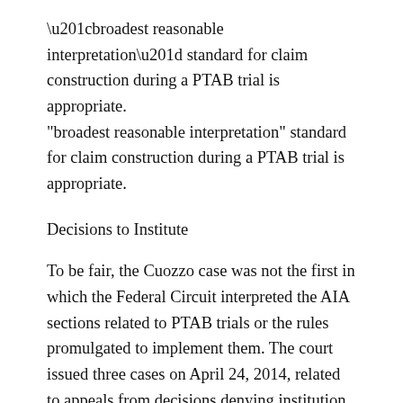“broadest reasonable interpretation” standard for claim construction during a PTAB trial is appropriate.
Decisions to Institute
To be fair, the Cuozzo case was not the first in which the Federal Circuit interpreted the AIA sections related to PTAB trials or the rules promulgated to implement them. The court issued three cases on April 24, 2014, related to appeals from decisions denying institution.[2]  The relevant statutory language can be found at 35 U.S.C. § 314(d): “No Appeal—The determination by the Director whether to institute an inter partes review under this section shall be final and nonappealable.” The Federal Circuit made clear in those cases that it